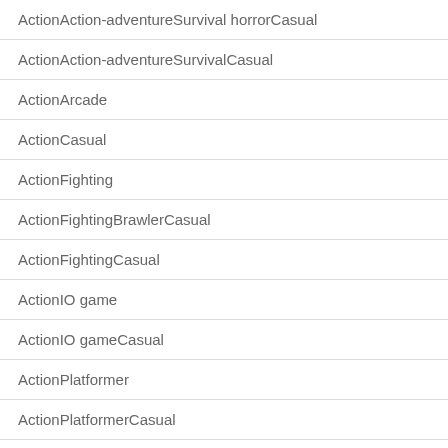| ActionAction-adventureSurvival horrorCasual |
| ActionAction-adventureSurvivalCasual |
| ActionArcade |
| ActionCasual |
| ActionFighting |
| ActionFightingBrawlerCasual |
| ActionFightingCasual |
| ActionIO game |
| ActionIO gameCasual |
| ActionPlatformer |
| ActionPlatformerCasual |
| ActionPlatformerHack & slashCasual |
| ActionPlatformerRun & gunCasual |